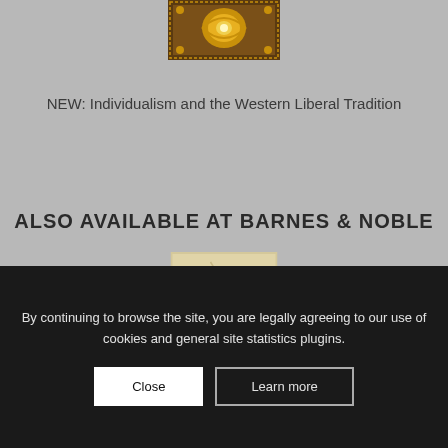[Figure (photo): Book cover with ornate golden decorative design on dark background, partially cropped at top]
NEW: Individualism and the Western Liberal Tradition
ALSO AVAILABLE AT BARNES & NOBLE
[Figure (photo): Book cover for 'The Culture of Critique' with aged/vintage appearance, cream/yellow tones with dark figure visible at bottom]
By continuing to browse the site, you are legally agreeing to our use of cookies and general site statistics plugins.